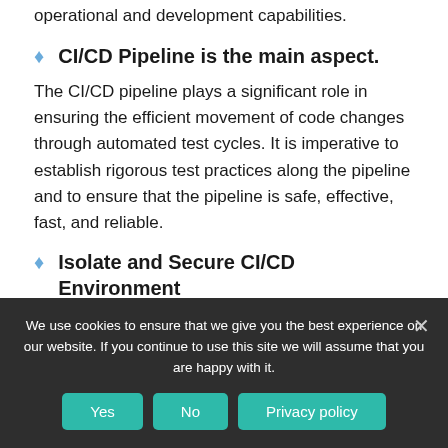operational and development capabilities.
CI/CD Pipeline is the main aspect.
The CI/CD pipeline plays a significant role in ensuring the efficient movement of code changes through automated test cycles. It is imperative to establish rigorous test practices along the pipeline and to ensure that the pipeline is safe, effective, fast, and reliable.
Isolate and Secure CI/CD Environment
CI/CD infrastructure has access to critical components such as certificates, data, applications, etc., it is necessary to protect the
We use cookies to ensure that we give you the best experience on our website. If you continue to use this site we will assume that you are happy with it.